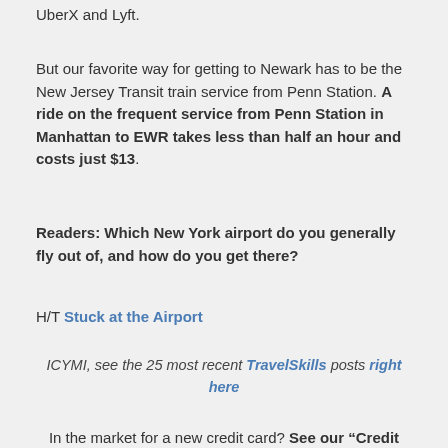UberX and Lyft.
But our favorite way for getting to Newark has to be the New Jersey Transit train service from Penn Station. A ride on the frequent service from Penn Station in Manhattan to EWR takes less than half an hour and costs just $13.
Readers: Which New York airport do you generally fly out of, and how do you get there?
H/T Stuck at the Airport
ICYMI, see the 25 most recent TravelSkills posts right here
In the market for a new credit card? See our “Credit Card Deals” tab to shop around! It helps us help you.
Don’t miss out! Join the 185,000+ people who read